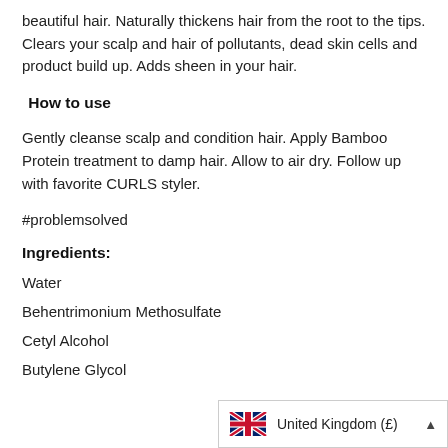beautiful hair. Naturally thickens hair from the root to the tips. Clears your scalp and hair of pollutants, dead skin cells and product build up. Adds sheen in your hair.
How to use
Gently cleanse scalp and condition hair. Apply Bamboo Protein treatment to damp hair. Allow to air dry. Follow up with favorite CURLS styler.
#problemsolved
Ingredients:
Water
Behentrimonium Methosulfate
Cetyl Alcohol
Butylene Glycol
[Figure (infographic): United Kingdom (£) country selector widget with UK flag and upward arrow]